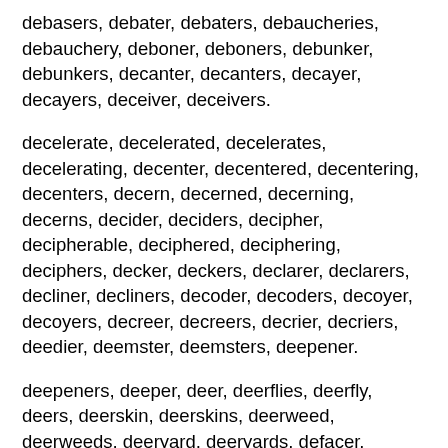debasers, debater, debaters, debaucheries, debauchery, deboner, deboners, debunker, debunkers, decanter, decanters, decayer, decayers, deceiver, deceivers.
decelerate, decelerated, decelerates, decelerating, decenter, decentered, decentering, decenters, decern, decerned, decerning, decerns, decider, deciders, decipher, decipherable, deciphered, deciphering, deciphers, decker, deckers, declarer, declarers, decliner, decliners, decoder, decoders, decoyer, decoyers, decreer, decreers, decrier, decriers, deedier, deemster, deemsters, deepener.
deepeners, deeper, deer, deerflies, deerfly, deers, deerskin, deerskins, deerweed, deerweeds, deeryard, deeryards, defacer, defacers, defamer, defamers, defeater, defeaters, defender, defenders, defer, deference, deferences, deferent, deferential